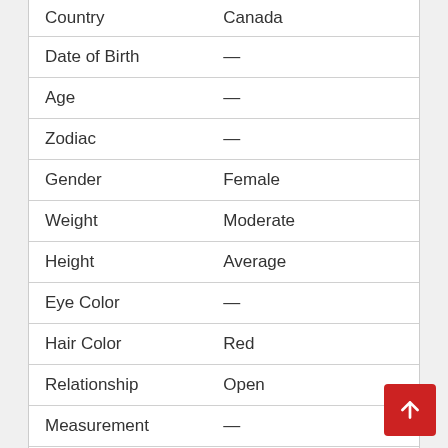|  |  |
| --- | --- |
| Country | Canada |
| Date of Birth | — |
| Age | — |
| Zodiac | — |
| Gender | Female |
| Weight | Moderate |
| Height | Average |
| Eye Color | — |
| Hair Color | Red |
| Relationship | Open |
| Measurement | — |
| Tattoo | Yes |